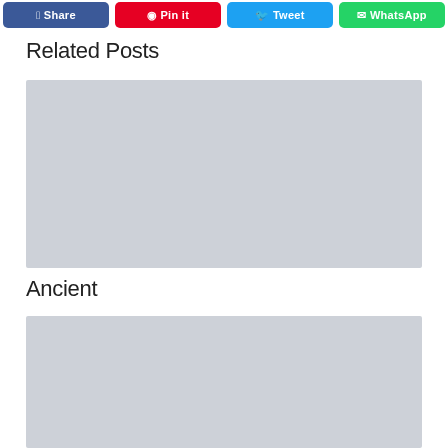Share | Pin it | Tweet | WhatsApp
Related Posts
[Figure (photo): Gray placeholder image for a related post]
Ancient
[Figure (photo): Gray placeholder image for another related post]